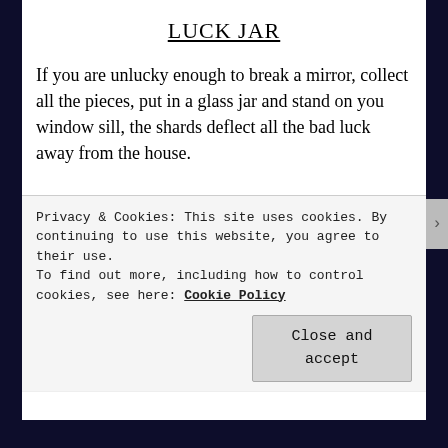LUCK JAR
If you are unlucky enough to break a mirror, collect all the pieces, put in a glass jar and stand on you window sill, the shards deflect all the bad luck away from the house.
Advertisements
The go-to app
Privacy & Cookies: This site uses cookies. By continuing to use this website, you agree to their use.
To find out more, including how to control cookies, see here: Cookie Policy
Close and accept